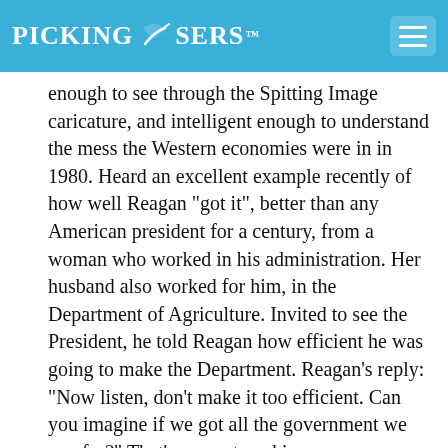PICKING LOSERS
enough to see through the Spitting Image caricature, and intelligent enough to understand the mess the Western economies were in in 1980. Heard an excellent example recently of how well Reagan "got it", better than any American president for a century, from a woman who worked in his administration. Her husband also worked for him, in the Department of Agriculture. Invited to see the President, he told Reagan how efficient he was going to make the Department. Reagan's reply: "Now listen, don't make it too efficient. Can you imagine if we got all the government we pay for?" That's a smart cookie.
Thatcher: Cruel to whom? The British government had spent decades being cruel to those who wanted to improve their lot, and generous to those who just wanted a wage for a day's attendance or better still a wage for no attendance, regardless of whether they contributed to the economy. She reversed that, and